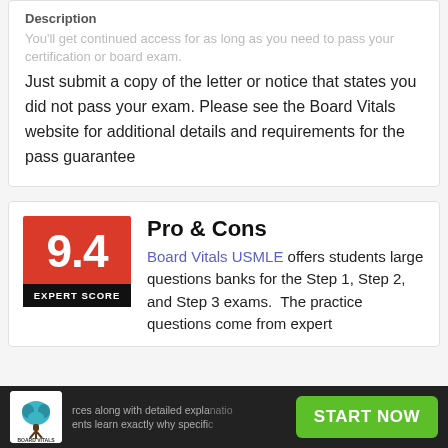Description
You'll get continued access for as long as you need to pass your certification or board exam. Just submit a copy of the letter or notice that states you did not pass your exam. Please see the Board Vitals website for additional details and requirements for the pass guarantee
[Figure (other): Red score badge showing 9.4 Expert Score]
Pro & Cons
Board Vitals USMLE offers students large questions banks for the Step 1, Step 2, and Step 3 exams. The practice questions come from expert sources along with detailed explanations so students learn exactly why specific
[Figure (logo): Board Vitals logo in footer]
sources along with detailed explanations so students learn exactly why specific
START NOW